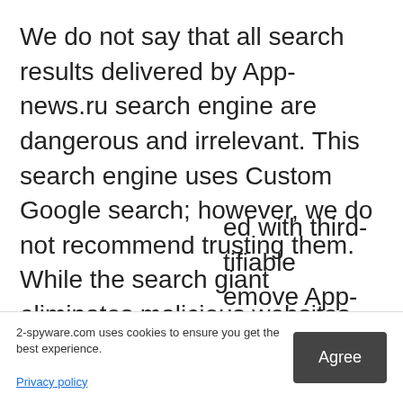We do not say that all search results delivered by App-news.ru search engine are dangerous and irrelevant. This search engine uses Custom Google search; however, we do not recommend trusting them. While the search giant eliminates malicious websites from the results, this one might deliver them on the first page. Besides, the majority of PUPs are tracking data, and this hijacker might not be an exception. They are mostly interested in browsing-related information, such as what websites have you visited recently, how much time you spent there, what search queries have you entered, etc. However, they might want to know you IP address, geographic location, email address, and so on. Aggregated information is often used to provide [ed with third-tifiable emove App-
2-spyware.com uses cookies to ensure you get the best experience.
Privacy policy
Agree